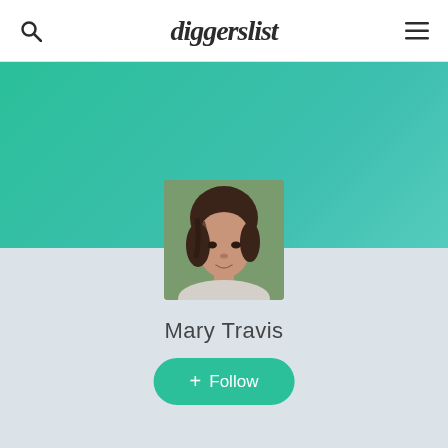diggerslist
[Figure (photo): Teal/green gradient banner background]
[Figure (photo): Profile photo of Mary Travis, a woman with dark hair, square thumbnail]
Mary Travis
+ Follow